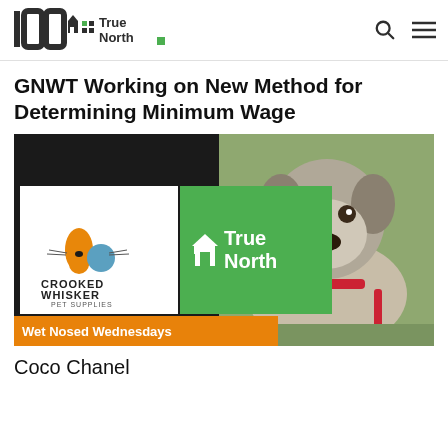100 True North [logo] | search | menu
GNWT Working on New Method for Determining Minimum Wage
[Figure (photo): Advertisement image combining a dog photo (Coco Chanel, a dog wearing a red harness in a grassy outdoor setting) with Crooked Whisker Pet Supplies logo and True North FM logo, with an orange banner reading 'Wet Nosed Wednesdays']
Coco Chanel